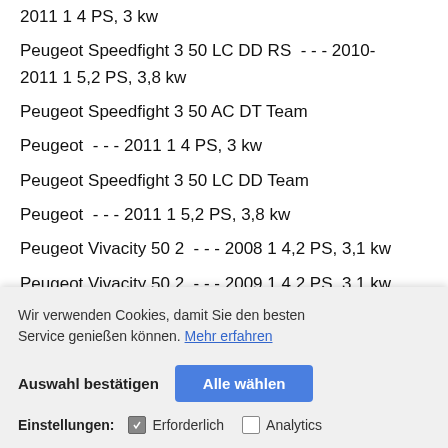2011 1 4 PS, 3 kw
Peugeot Speedfight 3 50 LC DD RS  - - - 2010-2011 1 5,2 PS, 3,8 kw
Peugeot Speedfight 3 50 AC DT Team Peugeot  - - - 2011 1 4 PS, 3 kw
Peugeot Speedfight 3 50 LC DD Team Peugeot  - - - 2011 1 5,2 PS, 3,8 kw
Peugeot Vivacity 50 2  - - - 2008 1 4,2 PS, 3,1 kw
Peugeot Vivacity 50 2  - - - 2009 1 4,2 PS, 3,1 kw
Peugeot Vivacity 50 2 RS  - - - 2008 1 4,2 PS, 3,1 kw
- - 2008 1 4,2 PS,
- - 2009 1 4,2 PS,
E2 - - 2008-
P2 - - 2010 1 2,9 PS, 2,1 kw
Wir verwenden Cookies, damit Sie den besten Service genießen können. Mehr erfahren
Auswahl bestätigen    Alle wählen
Einstellungen:   Erforderlich   Analytics